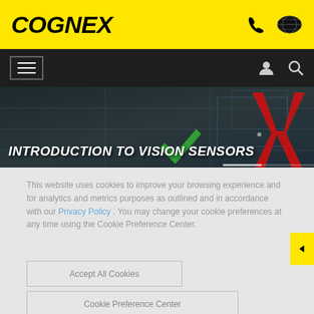[Figure (logo): Cognex company logo in black bold italic text on yellow background]
[Figure (screenshot): Navigation bar with hamburger menu, user icon, and search icon on dark background]
[Figure (photo): Hero banner with dark background showing INTRODUCTION TO VISION SENSORS title with decorative X graphic and green checkmark]
This website uses cookies to improve your browsing experience and for analytics and metrics purposes as outlined and in accordance with our Privacy Policy . You may change your cookie preferences at any time using the Cookie Preference Center.
Accept All Cookies
Cookie Preference Center